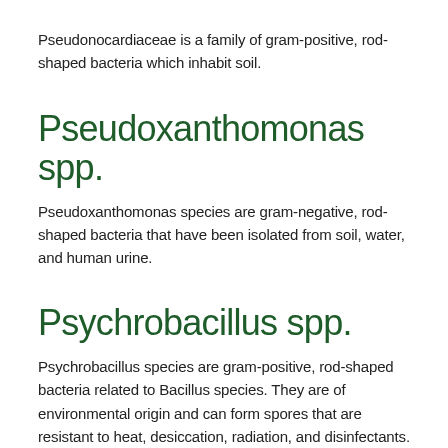Pseudonocardiaceae is a family of gram-positive, rod-shaped bacteria which inhabit soil.
Pseudoxanthomonas spp.
Pseudoxanthomonas species are gram-negative, rod-shaped bacteria that have been isolated from soil, water, and human urine.
Psychrobacillus spp.
Psychrobacillus species are gram-positive, rod-shaped bacteria related to Bacillus species. They are of environmental origin and can form spores that are resistant to heat, desiccation, radiation, and disinfectants.
Psychrobacter faecalis